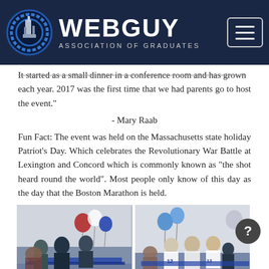WEBGUY ASSOCIATION OF GRADUATES
It started as a small dinner in a conference room and has grown each year. 2017 was the first time that we had parents go to host the event."
- Mary Raab
Fun Fact: The event was held on the Massachusetts state holiday Patriot's Day. Which celebrates the Revolutionary War Battle at Lexington and Concord which is commonly known as "the shot heard round the world". Most people only know of this day as the day that the Boston Marathon is held.
[Figure (photo): Two side-by-side photos from an event: left photo shows people gathered around a table with American flag balloons; right photo shows people in New England Patriots jerseys (#12) gathered around a table with blue star balloons.]
The food was a barbeque dinner catered by Famous Dave's and the dessert served in Massachusetts's official dessert - Boston